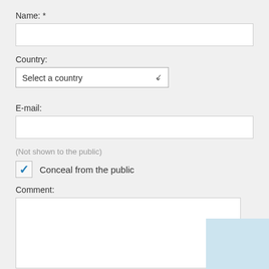Name: *
[Figure (screenshot): Text input field for Name]
Country:
[Figure (screenshot): Dropdown select field showing 'Select a country' with chevron]
E-mail:
[Figure (screenshot): Text input field for E-mail]
(Not shown to the public)
Conceal from the public
Comment:
[Figure (screenshot): Textarea for comment with blue overlay panel on right]
Submit
Cancel